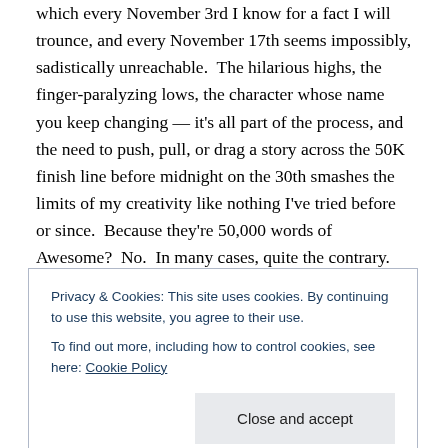which every November 3rd I know for a fact I will trounce, and every November 17th seems impossibly, sadistically unreachable.  The hilarious highs, the finger-paralyzing lows, the character whose name you keep changing — it's all part of the process, and the need to push, pull, or drag a story across the 50K finish line before midnight on the 30th smashes the limits of my creativity like nothing I've tried before or since.  Because they're 50,000 words of Awesome?  No.  In many cases, quite the contrary.  But they're 50,000 words I didn't have on October 31st.  They're words I can render into beauty or comedy or bird
Privacy & Cookies: This site uses cookies. By continuing to use this website, you agree to their use.
To find out more, including how to control cookies, see here: Cookie Policy
Close and accept